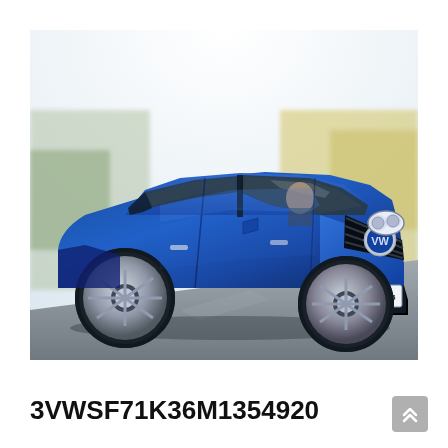[Figure (photo): A blue Volkswagen Golf (5th generation) driving on a road, photographed from a front-left angle. The car has a license plate reading 'MOB DJ 345'. The background is blurred showing a road and landscape.]
3VWSF71K36M1354920